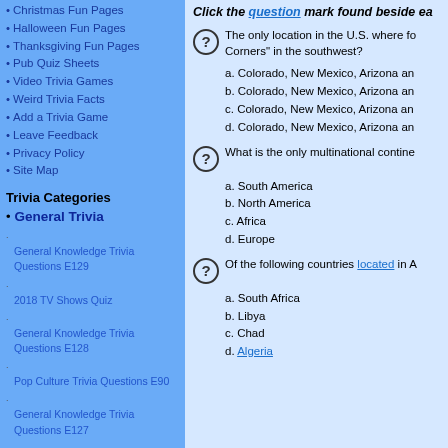Christmas Fun Pages
Halloween Fun Pages
Thanksgiving Fun Pages
Pub Quiz Sheets
Video Trivia Games
Weird Trivia Facts
Add a Trivia Game
Leave Feedback
Privacy Policy
Site Map
Trivia Categories
General Trivia
General Knowledge Trivia Questions E129
2018 TV Shows Quiz
General Knowledge Trivia Questions E128
Pop Culture Trivia Questions E90
General Knowledge Trivia Questions E127
More ...
Movie Trivia
Dogs In The Movies Quiz
2018 Movie Actor Matchup Quiz
2018 Movie Trivia Questions
Movie Trivia Questions E49
Disney Movie Trivia Questions E11
Click the question mark found beside ea
The only location in the U.S. where fo Corners" in the southwest? a. Colorado, New Mexico, Arizona an b. Colorado, New Mexico, Arizona an c. Colorado, New Mexico, Arizona an d. Colorado, New Mexico, Arizona an
What is the only multinational contine a. South America b. North America c. Africa d. Europe
Of the following countries located in A a. South Africa b. Libya c. Chad d. Algeria